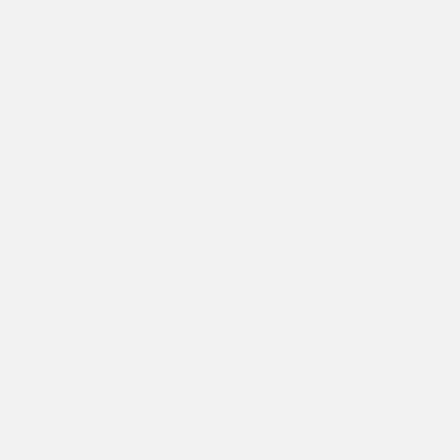Melissa Bruner, Candace…, Michael W. Turner, Teri…
Marcedric Dearman, Bl…, Miller, Brian Seitel -- Jun…
Beth Anne Lawrence -- C…
Ploy Kurdmongkoltham…
Amanda Dawson -- Sax…
Clark Hunt -- Trumpet I…
Adam Daniel -- Trumpe…
Matt Loyd -- Trombone…
Micah Kennedy -- Guita…
Aron Thompson -- Guit…
Joe Skaggs -- Bass
Steve Ellison -- Drum Se…
Melanie Black Ahlschwe…
Jan Rhodes -- Keyboard…
Justin Williams -- Keybo…
Is Part Of
Theater & Film Perf…